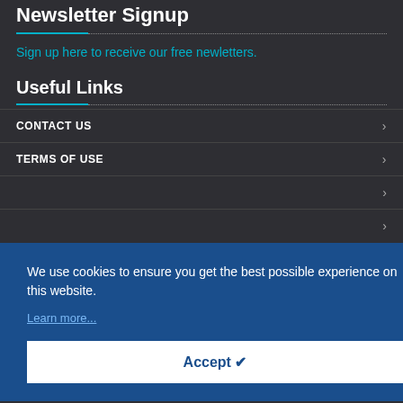Newsletter Signup
Sign up here to receive our free newletters.
Useful Links
CONTACT US
TERMS OF USE
We use cookies to ensure you get the best possible experience on this website.
Learn more...
Accept ✔
TAB Research